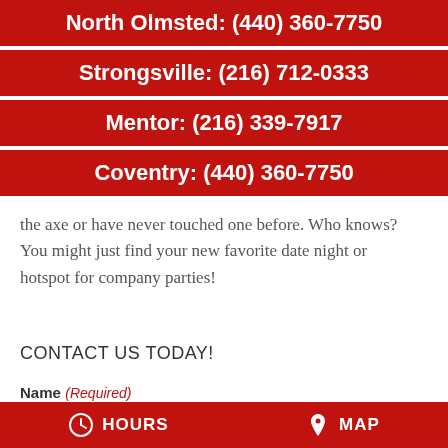North Olmsted: (440) 360-7750
Strongsville: (216) 712-0333
Mentor: (216) 339-7917
Coventry: (440) 360-7750
the axe or have never touched one before. Who knows? You might just find your new favorite date night or hotspot for company parties!
CONTACT US TODAY!
Name (Required)
HOURS   MAP